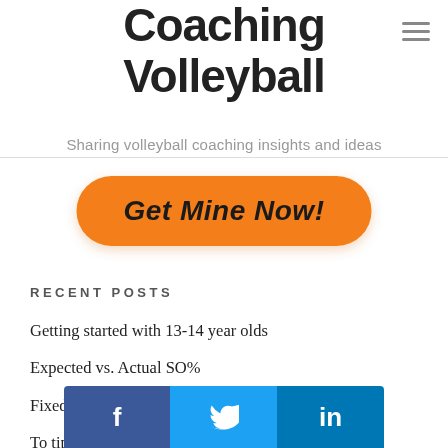Coaching Volleyball
Sharing volleyball coaching insights and ideas
[Figure (other): Orange rounded button with text 'Get Mine Now!']
RECENT POSTS
Getting started with 13-14 year olds
Expected vs. Actual SO%
Fixed set height or match the hitter's reach
To tip, or not to tip
Developing tough players and teams
[Figure (other): Social share bar with Facebook, Twitter, LinkedIn buttons]